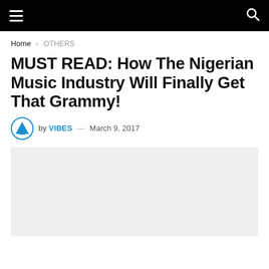Navigation bar with menu and search icons
Home › OTHERS
MUST READ: How The Nigerian Music Industry Will Finally Get That Grammy!
by VIBES — March 9, 2017
[Figure (photo): Article lead image placeholder (light gray rectangle)]